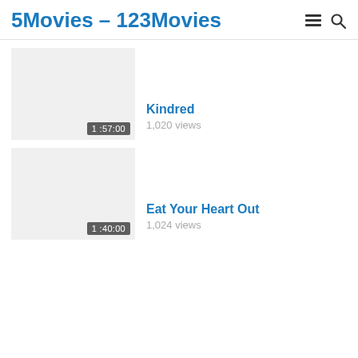5Movies – 123Movies
[Figure (screenshot): Movie thumbnail placeholder for Kindred with duration badge 1:57:00]
Kindred
1,020 views
[Figure (screenshot): Movie thumbnail placeholder for Eat Your Heart Out with duration badge 1:40:00]
Eat Your Heart Out
1,024 views